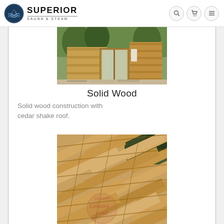[Figure (logo): Superior Sauna & Steam logo with circular emblem and navigation icons]
[Figure (photo): Outdoor cedar sauna structure with wooden siding, glass door, and stone tile patio with trees in background]
Solid Wood
Solid wood construction with cedar shake roof.
[Figure (photo): Close-up of cedar shake roof shingles showing overlapping diagonal wooden slats with Canadian Leisure Craft watermark]